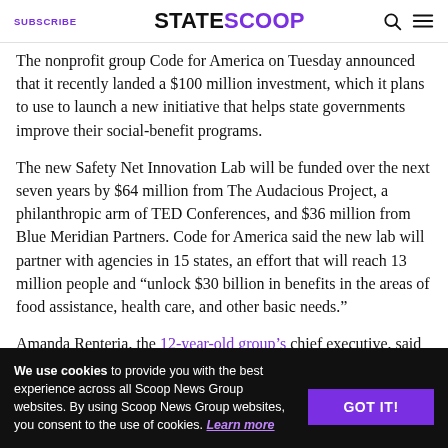SUBSCRIBE | STATESCOOP
The nonprofit group Code for America on Tuesday announced that it recently landed a $100 million investment, which it plans to use to launch a new initiative that helps state governments improve their social-benefit programs.
The new Safety Net Innovation Lab will be funded over the next seven years by $64 million from The Audacious Project, a philanthropic arm of TED Conferences, and $36 million from Blue Meridian Partners. Code for America said the new lab will partner with agencies in 15 states, an effort that will reach 13 million people and “unlock $30 billion in benefits in the areas of food assistance, health care, and other basic needs.”
Amanda Renteria, the 12-year-old group’s chief executive, said the lab will make the nation’s social safety net accessible, equitable, and easy to use.
“These are heroes in government working directly with people every day, navigating old systems,”
We use cookies to provide you with the best experience across all Scoop News Group websites. By using Scoop News Group websites, you consent to the use of cookies. Learn more